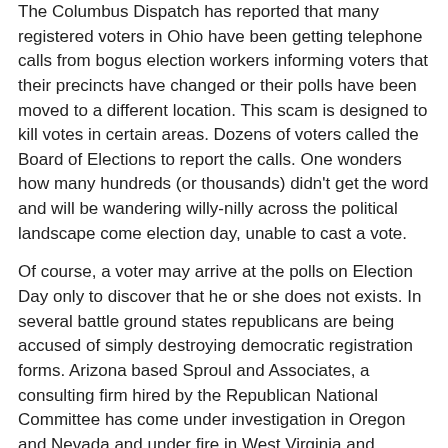The Columbus Dispatch has reported that many registered voters in Ohio have been getting telephone calls from bogus election workers informing voters that their precincts have changed or their polls have been moved to a different location. This scam is designed to kill votes in certain areas. Dozens of voters called the Board of Elections to report the calls. One wonders how many hundreds (or thousands) didn’t get the word and will be wandering willy-nilly across the political landscape come election day, unable to cast a vote.
Of course, a voter may arrive at the polls on Election Day only to discover that he or she does not exists. In several battle ground states republicans are being accused of simply destroying democratic registration forms. Arizona based Sproul and Associates, a consulting firm hired by the Republican National Committee has come under investigation in Oregon and Nevada and under fire in West Virginia and Pennsylvania . It is alleged that the canvassers the company hired were told to register only Republicans, and “get rid of” any forms completed by Democrats. One Minneapolis hire quit after being told that if he registered democrats he would be fired.
Nathan Sproul, former chief of the Arizona Republican Party and Christian Coalition branch office, denies his company’s wrong doing. The RNC has paid Sproul and Associates $500,000 since July.